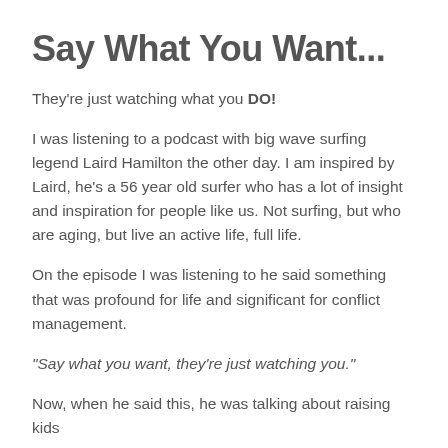Say What You Want...
They're just watching what you DO!
I was listening to a podcast with big wave surfing legend Laird Hamilton the other day. I am inspired by Laird, he's a 56 year old surfer who has a lot of insight and inspiration for people like us. Not surfing, but who are aging, but live an active life, full life.
On the episode I was listening to he said something that was profound for life and significant for conflict management.
"Say what you want, they're just watching you."
Now, when he said this, he was talking about raising kids